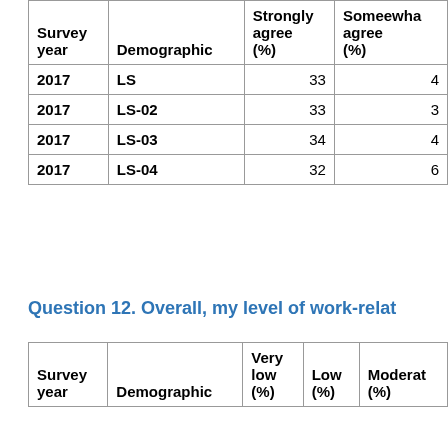| Survey year | Demographic | Strongly agree (%) | Somewhat agree (%) |
| --- | --- | --- | --- |
| 2017 | LS | 33 | 4 |
| 2017 | LS-02 | 33 | 3 |
| 2017 | LS-03 | 34 | 4 |
| 2017 | LS-04 | 32 | 6 |
Question 12. Overall, my level of work-relat...
| Survey year | Demographic | Very low (%) | Low (%) | Moderate (%) |
| --- | --- | --- | --- | --- |